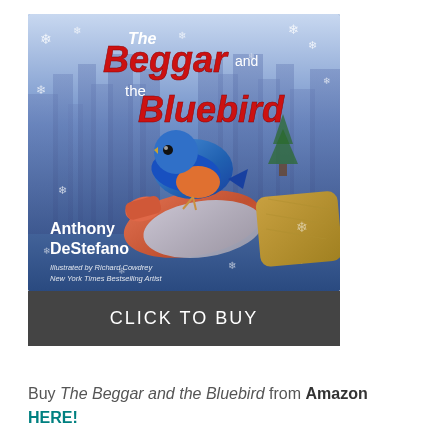[Figure (illustration): Book cover of 'The Beggar and the Bluebird' by Anthony DeStefano, illustrated by Richard Cowdrey. Shows a bluebird perched on a gloved hand with a winter city skyline and snowflakes in the background. Text on cover: 'The Beggar and the Bluebird', 'Anthony DeStefano', 'Illustrated by Richard Cowdrey, New York Times Bestselling Artist'. Below the illustration is a dark gray bar with white text 'CLICK TO BUY'.]
Buy The Beggar and the Bluebird from Amazon HERE!